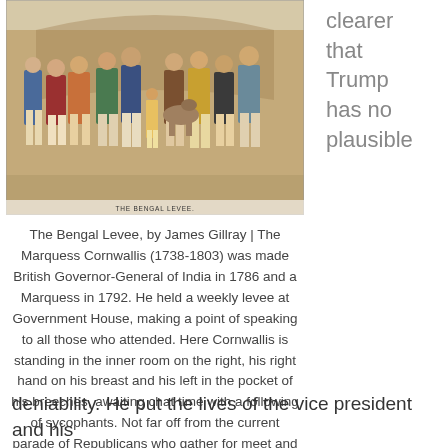[Figure (illustration): Historical illustration titled 'The Bengal Levee' by James Gillray, showing a crowd of figures in 18th century dress at a formal levee gathering.]
clearer that Trump has no plausible
The Bengal Levee, by James Gillray | The Marquess Cornwallis (1738-1803) was made British Governor-General of India in 1786 and a Marquess in 1792. He held a weekly levee at Government House, making a point of speaking to all those who attended. Here Cornwallis is standing in the inner room on the right, his right hand on his breast and his left in the pocket of his breeches, awaiting chat time with a following of sycophants. Not far off from the current parade of Republicans who gather for meet and greets at Mar-a-Lago.
deniability. He put the lives of the vice president and his